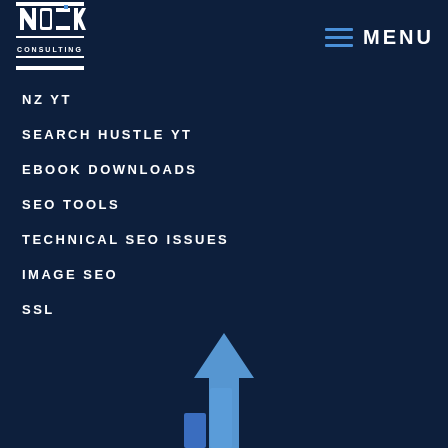[Figure (logo): Nozak Consulting logo — white block letters on dark navy background]
MENU
NZ YT
SEARCH HUSTLE YT
EBOOK DOWNLOADS
SEO TOOLS
TECHNICAL SEO ISSUES
IMAGE SEO
SSL
[Figure (illustration): Blue upward arrow and bar chart icon at the bottom of the page]